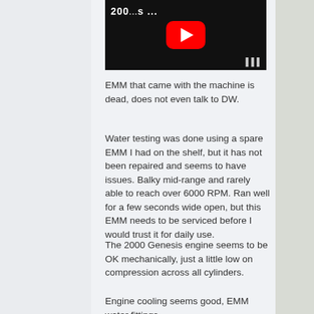[Figure (screenshot): YouTube video thumbnail showing a dark scene with '200...s ...' text and a red YouTube play button in the center]
EMM that came with the machine is dead, does not even talk to DW.
Water testing was done using a spare EMM I had on the shelf, but it has not been repaired and seems to have issues. Balky mid-range and rarely able to reach over 6000 RPM. Ran well for a few seconds wide open, but this EMM needs to be serviced before I would trust it for daily use.
The 2000 Genesis engine seems to be OK mechanically, just a little low on compression across all cylinders.
Engine cooling seems good, EMM water fittings